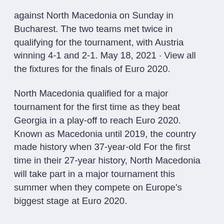against North Macedonia on Sunday in Bucharest. The two teams met twice in qualifying for the tournament, with Austria winning 4-1 and 2-1. May 18, 2021 · View all the fixtures for the finals of Euro 2020.
North Macedonia qualified for a major tournament for the first time as they beat Georgia in a play-off to reach Euro 2020. Known as Macedonia until 2019, the country made history when 37-year-old For the first time in their 27-year history, North Macedonia will take part in a major tournament this summer when they compete on Europe's biggest stage at Euro 2020.